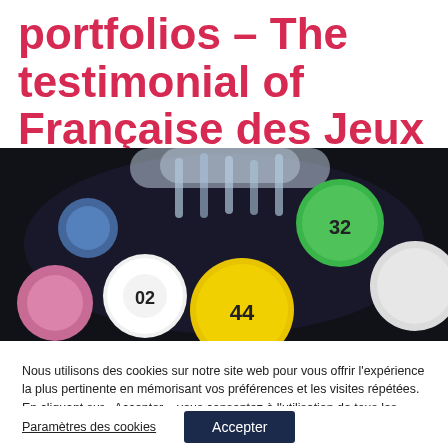portfolios – The testimonial of Française des Jeux
[Figure (photo): Close-up photo of colorful lottery balls in a lottery machine drum, showing numbered balls including numbers 32, 44, 02, and others in green, yellow, white, blue, and pink colors.]
Nous utilisons des cookies sur notre site web pour vous offrir l'expérience la plus pertinente en mémorisant vos préférences et les visites répétées. En cliquant sur «Accepter», vous consentez à l'utilisation de tous les cookies.
Paramètres des cookies | Accepter